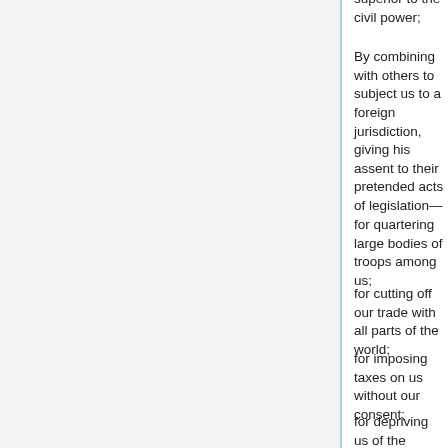superior to the civil power;
By combining with others to subject us to a foreign jurisdiction, giving his assent to their pretended acts of legislation—
for quartering large bodies of troops among us;
for cutting off our trade with all parts of the world;
for imposing taxes on us without our consent;
for depriving us of the benefits of trial by jury;
for transporting us beyond seas to be tried for pretended offences; and
for suspending our own legislators, and declaring